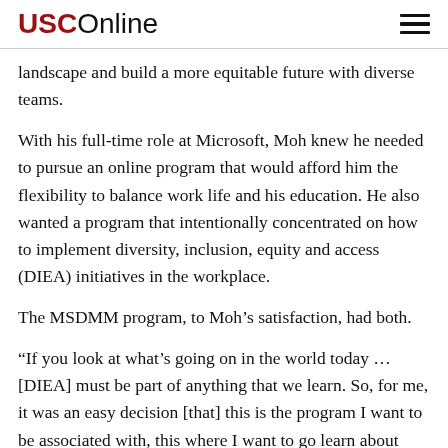USC Online
landscape and build a more equitable future with diverse teams.
With his full-time role at Microsoft, Moh knew he needed to pursue an online program that would afford him the flexibility to balance work life and his education. He also wanted a program that intentionally concentrated on how to implement diversity, inclusion, equity and access (DIEA) initiatives in the workplace.
The MSDMM program, to Moh’s satisfaction, had both.
“If you look at what’s going on in the world today … [DIEA] must be part of anything that we learn. So, for me, it was an easy decision [that] this is the program I want to be associated with, this where I want to go learn about digital media and being a leader,” Moh explained.